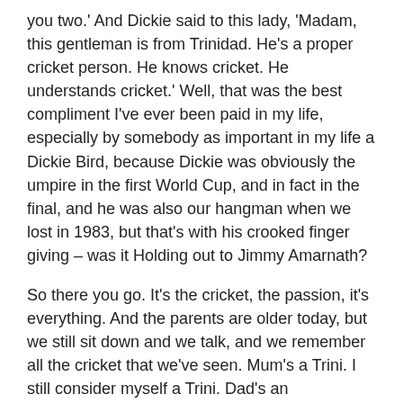you two.'  And Dickie said to this lady, 'Madam, this gentleman is from Trinidad.  He's a proper cricket person.  He knows cricket.  He understands cricket.'  Well, that was the best compliment I've ever been paid in my life, especially by somebody as important in my life a Dickie Bird, because Dickie was obviously the umpire in the first World Cup, and in fact in the final, and he was also our hangman when we lost in 1983, but that's with his crooked finger giving – was it Holding out to Jimmy Amarnath?
So there you go.  It's the cricket, the passion, it's everything.  And the parents are older today, but we still sit down and we talk, and we remember all the cricket that we've seen.  Mum's a Trini.  I still consider myself a Trini.  Dad's an Englishman; he even supports the West Indies today.  So it's been really great to share my little West Indian cricket experience with you, and I look forward to hearing some more.